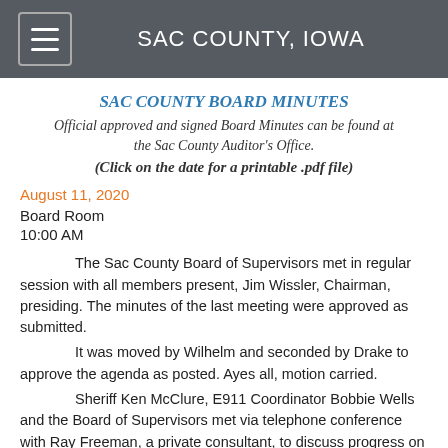SAC COUNTY, IOWA
SAC COUNTY BOARD MINUTES
Official approved and signed Board Minutes can be found at the Sac County Auditor's Office.
(Click on the date for a printable .pdf file)
August 11, 2020
Board Room
10:00 AM
The Sac County Board of Supervisors met in regular session with all members present, Jim Wissler, Chairman, presiding.  The minutes of the last meeting were approved as submitted.
It was moved by Wilhelm and seconded by Drake to approve the agenda as posted.  Ayes all, motion carried.
Sheriff Ken McClure, E911 Coordinator Bobbie Wells and the Board of Supervisors met via telephone conference with Ray Freeman, a private consultant, to discuss progress on the County's